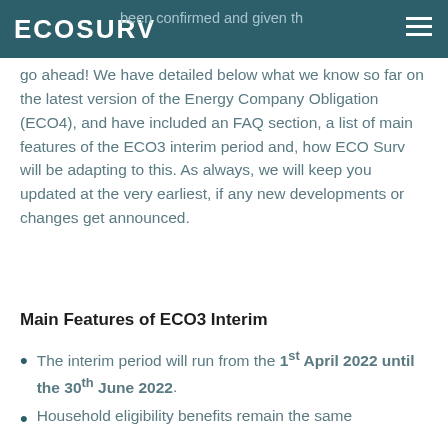ECOSURV
been confirmed and given the go ahead! We have detailed below what we know so far on the latest version of the Energy Company Obligation (ECO4), and have included an FAQ section, a list of main features of the ECO3 interim period and, how ECO Surv will be adapting to this. As always, we will keep you updated at the very earliest, if any new developments or changes get announced.
Main Features of ECO3 Interim
The interim period will run from the 1st April 2022 until the 30th June 2022.
Household eligibility benefits remain the same